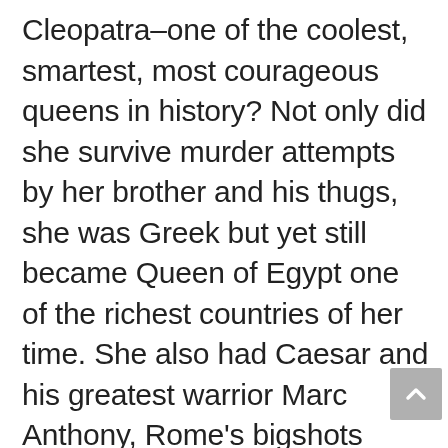Cleopatra–one of the coolest, smartest, most courageous queens in history? Not only did she survive murder attempts by her brother and his thugs, she was Greek but yet still became Queen of Egypt one of the richest countries of her time. She also had Caesar and his greatest warrior Marc Anthony, Rome's bigshots eating out of her hand and managed to frustrate the hell out of that wimp Octavian and made him look like a fool as